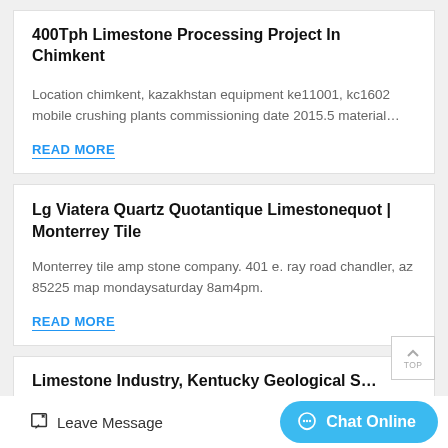400Tph Limestone Processing Project In Chimkent
Location chimkent, kazakhstan equipment ke11001, kc1602 mobile crushing plants commissioning date 2015.5 material…
READ MORE
Lg Viatera Quartz Quotantique Limestonequot | Monterrey Tile
Monterrey tile amp stone company. 401 e. ray road chandler, az 85225 map mondaysaturday 8am4pm.
READ MORE
Limestone Industry, Kentucky Geological S…
Leave Message
Chat Online